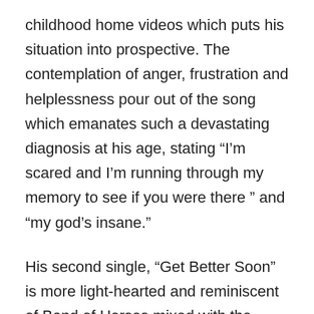childhood home videos which puts his situation into prospective. The contemplation of anger, frustration and helplessness pour out of the song which emanates such a devastating diagnosis at his age, stating “I’m scared and I’m running through my memory to see if you were there ” and “my god’s insane.”
His second single, “Get Better Soon” is more light-hearted and reminiscent of Band of Horses mixed with the earlier sounds of Crosby, Stills & Nash, yet his standpoint of his diagnosis is really one of others outlook of himself, looking at someone he hasn’t seen in a while who may have been ignored for a very long time. But life altering events bring out the person we were always meant to be, or should be and facing this person with longing and regret can turn into